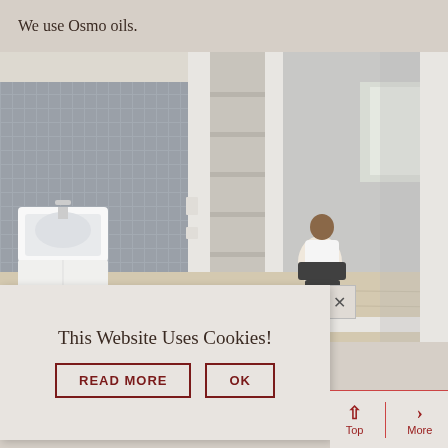We use Osmo oils.
[Figure (photo): Interior photo of a hallway/bathroom area being worked on by a tradesperson. The scene shows a white sink on the left, built-in shelving in the center, a worker kneeling on a light-colored floor in the middle distance, and a grey wall with white skirting on the right. Natural light comes from a window in the background.]
This Website Uses Cookies!
READ MORE
OK
Top
More